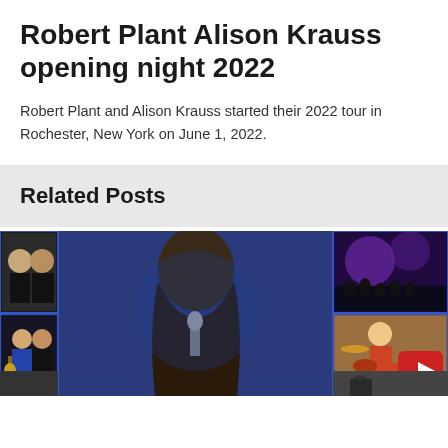Robert Plant Alison Krauss opening night 2022
Robert Plant and Alison Krauss started their 2022 tour in Rochester, New York on June 1, 2022.
Related Posts
[Figure (photo): Collage of concert/performance photos including a long-haired singer at a microphone in the center, smaller photos of musicians on the left and right sides, and a red arrow button overlay on bottom-right photo.]